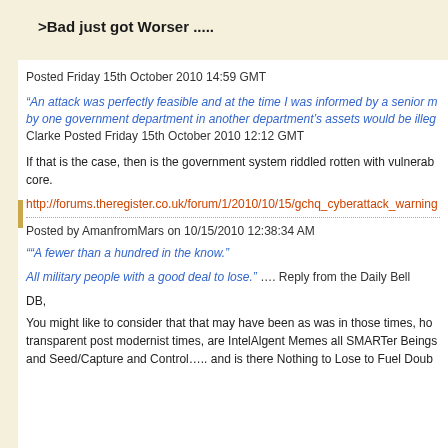>Bad just got Worser .....
Posted Friday 15th October 2010 14:59 GMT
“An attack was perfectly feasible and at the time I was informed by a senior m... by one government department in another department’s assets would be illeg... Clarke Posted Friday 15th October 2010 12:12 GMT
If that is the case, then is the government system riddled rotten with vulnerab... core.
http://forums.theregister.co.uk/forum/1/2010/10/15/gchq_cyberattack_warning...
Posted by AmanfromMars on 10/15/2010 12:38:34 AM
““A fewer than a hundred in the know.”
All military people with a good deal to lose.” …. Reply from the Daily Bell
DB,
You might like to consider that that may have been as was in those times, ho... transparent post modernist times, are IntelAlgent Memes all SMARTer Beings... and Seed/Capture and Control….. and is there Nothing to Lose to Fuel Doub...